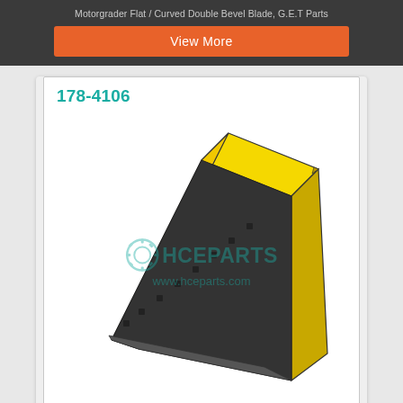Motorgrader Flat / Curved Double Bevel Blade, G.E.T Parts
View More
178-4106
[Figure (illustration): Yellow motorgrader flat double bevel blade shown in isometric view with bolt holes along bottom edge, displayed at an angle. HCEPARTS watermark and www.hceparts.com URL overlaid on image.]